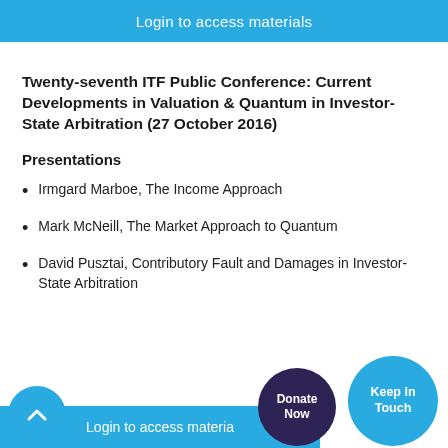Login to access materials
Twenty-seventh ITF Public Conference: Current Developments in Valuation & Quantum in Investor-State Arbitration (27 October 2016)
Presentations
Irmgard Marboe, The Income Approach
Mark McNeill, The Market Approach to Quantum
David Pusztai, Contributory Fault and Damages in Investor-State Arbitration
Login to access materia...